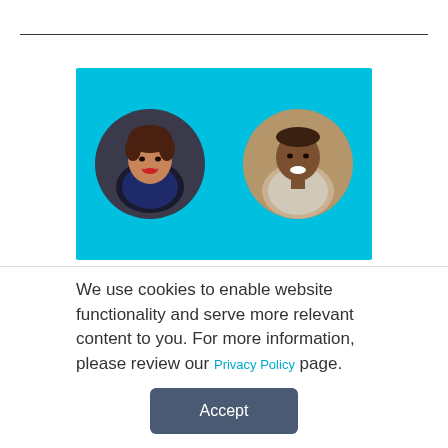[Figure (photo): Two circular portrait photos on a cyan/turquoise background. Left: a woman with curly hair wearing a dark blazer. Right: a smiling man in a light striped shirt.]
We use cookies to enable website functionality and serve more relevant content to you. For more information, please review our Privacy Policy page.
Accept